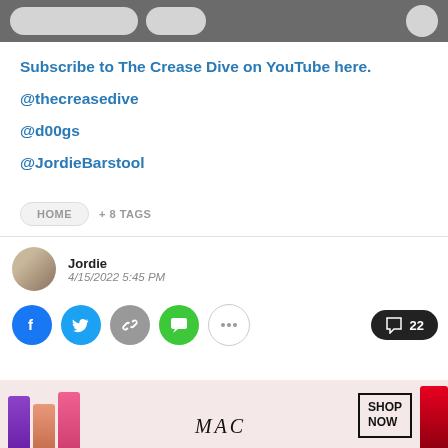[Figure (screenshot): Gray top navigation bar with search/button elements]
Subscribe to The Crease Dive on YouTube here.
@thecreasedive
@d00gs
@JordieBarstool
HOME  + 8 TAGS
Jordie
4/15/2022 5:45 PM
[Figure (screenshot): Social share buttons: Facebook, Twitter, link, SMS, more dots. Comment count: 22]
[Figure (photo): MAC Cosmetics advertisement with lipsticks and SHOP NOW button]